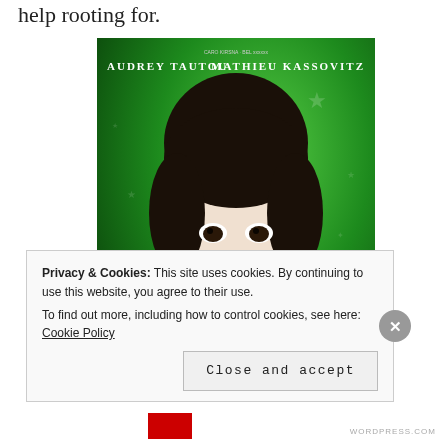help rooting for.
[Figure (photo): Movie poster for Le Fabuleux Destin (Amélie) featuring Audrey Tautou on a green background with stars, with actor names Audrey Tautou and Mathieu Kassovitz at the top, and the cursive golden title 'Le Fabuleux Destin' at the bottom.]
Privacy & Cookies: This site uses cookies. By continuing to use this website, you agree to their use.
To find out more, including how to control cookies, see here: Cookie Policy
Close and accept